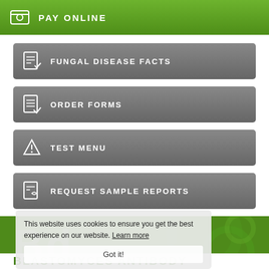PAY ONLINE
FUNGAL DISEASE FACTS
ORDER FORMS
TEST MENU
REQUEST SAMPLE REPORTS
This website uses cookies to ensure you get the best experience on our website. Learn more
Got it!
[Figure (screenshot): Green banner with large Bd letter watermark and Blastomyces italic text, with microscopy image background]
BLASTOMYCES ANTIBODY